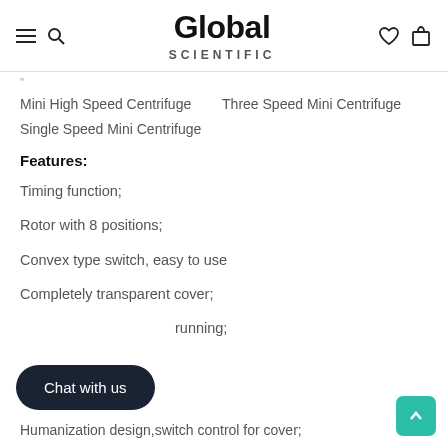Global Scientific
Mini High Speed Centrifuge    Three Speed Mini Centrifuge    Single Speed Mini Centrifuge
Features:
Timing function;
Rotor with 8 positions;
Convex type switch, easy to use
Completely transparent cover;
running;
Humanization design,switch control for cover;